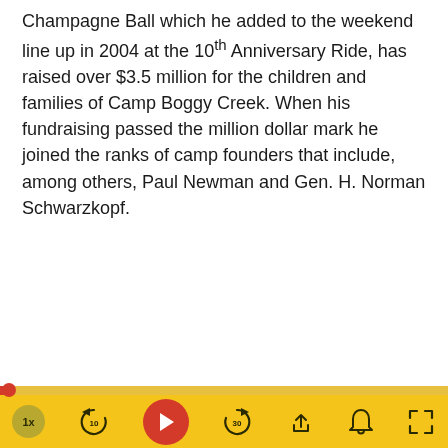Champagne Ball which he added to the weekend line up in 2004 at the 10th Anniversary Ride, has raised over $3.5 million for the children and families of Camp Boggy Creek. When his fundraising passed the million dollar mark he joined the ranks of camp founders that include, among others, Paul Newman and Gen. H. Norman Schwarzkopf.
[Figure (other): Video player controls bar with yellow background showing: 1x speed button, rewind 10s, play button (red circle), forward 30s, share, notification bell, and fullscreen icons. A progress bar appears above with a red dot at the beginning.]